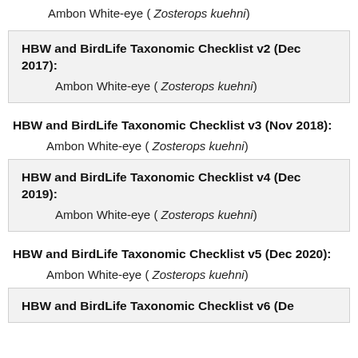Ambon White-eye ( Zosterops kuehni)
HBW and BirdLife Taxonomic Checklist v2 (Dec 2017):
Ambon White-eye ( Zosterops kuehni)
HBW and BirdLife Taxonomic Checklist v3 (Nov 2018):
Ambon White-eye ( Zosterops kuehni)
HBW and BirdLife Taxonomic Checklist v4 (Dec 2019):
Ambon White-eye ( Zosterops kuehni)
HBW and BirdLife Taxonomic Checklist v5 (Dec 2020):
Ambon White-eye ( Zosterops kuehni)
HBW and BirdLife Taxonomic Checklist v6 (De...